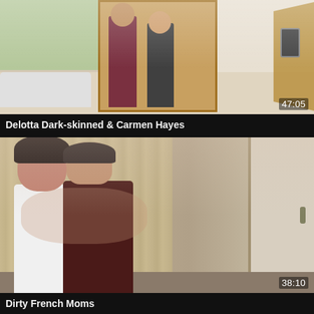[Figure (screenshot): Video thumbnail showing two people at an indoor doorway, one in dark clothing and one in light, with a modern interior. Duration overlay shows 47:05.]
Delotta Dark-skinned & Carmen Hayes
[Figure (screenshot): Video thumbnail showing a man and woman embracing and kissing in an indoor setting with curtains and a door visible. Duration overlay shows 38:10.]
Dirty French Moms